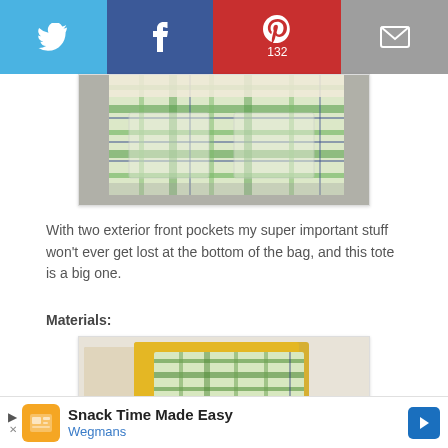[Figure (other): Social sharing bar with Twitter (blue), Facebook (dark blue), Pinterest (red, showing 132 saves), and email (gray) buttons]
[Figure (photo): Close-up photo of a plaid green and yellow fabric tote bag showing exterior front pockets, sitting on a concrete surface]
With two exterior front pockets my super important stuff won't ever get lost at the bottom of the bag, and this tote is a big one.
Materials:
[Figure (photo): Photo of fabric materials laid out flat: beige/natural fabric, green and cream plaid fabric, yellow fabric, and striped tape/webbing]
[Figure (other): Advertisement banner: Snack Time Made Easy - Wegmans, with orange logo icon and blue arrow button]